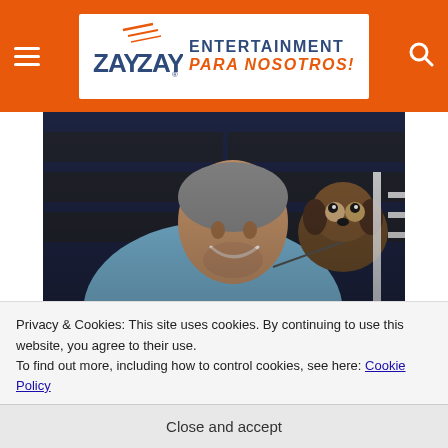ZAYZAY ENTERTAINMENT PARA NOSOTROS!
[Figure (photo): Cesar Millan smiling while holding a small dog close to his face, at an event with branded backdrop]
Cesar Millan
Famed dog trainer Cesar Millan a.k.a. “The Dog
...crossed the border without ...documentation at the age of 21...
...came to the United States illegally, as noted in his autobiography: “For Wthe poor and working...
Privacy & Cookies: This site uses cookies. By continuing to use this website, you agree to their use.
To find out more, including how to control cookies, see here: Cookie Policy
Close and accept